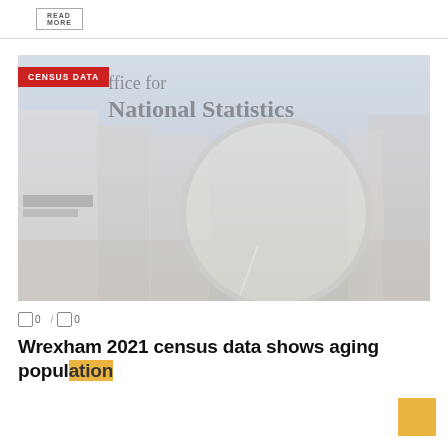READ MORE
[Figure (photo): Faded photo of a historic high street (Wrexham town centre) with Victorian-era commercial buildings and a large magnifying glass overlaid on the scene. The Office for National Statistics logo text appears faintly in the upper portion. A red 'CENSUS DATA' badge overlays the top-left corner of the image.]
0  /  0
Wrexham 2021 census data shows aging population